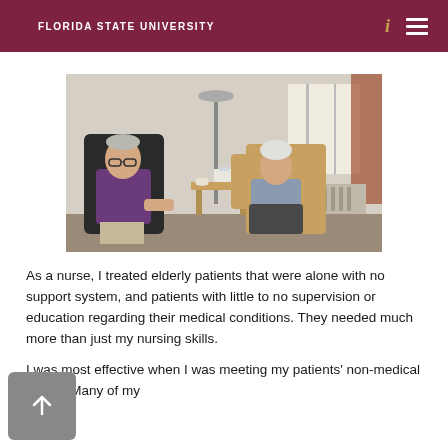FLORIDA STATE UNIVERSITY
[Figure (photo): Two elderly people seated in chairs in a room. An older man in a purple sweater sits in a dark chair on the left, and an older woman with white hair sits in a wooden chair on the right near a window. A small table with a cup and tissue box is between them. A floor lamp and curtains are visible in the background.]
As a nurse, I treated elderly patients that were alone with no support system, and patients with little to no supervision or education regarding their medical conditions. They needed much more than just my nursing skills.
I was most effective when I was meeting my patients' non-medical needs. Many of my